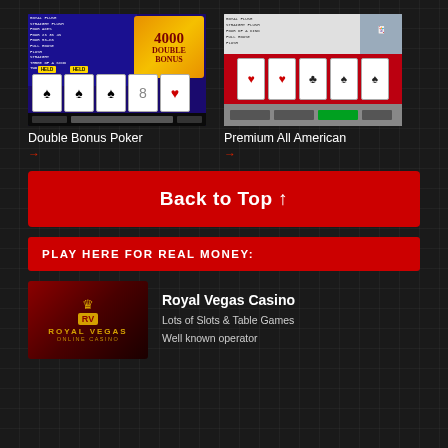[Figure (screenshot): Double Bonus Poker video poker game screenshot showing cards with HELD labels and 4000 DOUBLE BONUS banner]
Double Bonus Poker
[Figure (screenshot): Premium All American video poker game screenshot showing playing cards on red felt background]
Premium All American
Back to Top ↑
PLAY HERE FOR REAL MONEY:
[Figure (logo): Royal Vegas Online Casino logo with crown and RV emblem on dark red background]
Royal Vegas Casino
Lots of Slots & Table Games
Well known operator